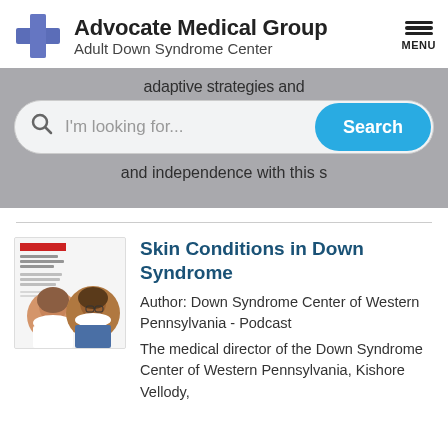[Figure (logo): Advocate Medical Group logo with blue cross and text 'Advocate Medical Group / Adult Down Syndrome Center']
[Figure (screenshot): Search bar overlay on gray background with partial text 'adaptive strategies and' and 'and independence with this s']
[Figure (photo): Thumbnail image of two medical professionals on a document cover labeled 'Dermatologic Conditions in Down Syndrome']
Skin Conditions in Down Syndrome
Author: Down Syndrome Center of Western Pennsylvania - Podcast
The medical director of the Down Syndrome Center of Western Pennsylvania, Kishore Vellody,